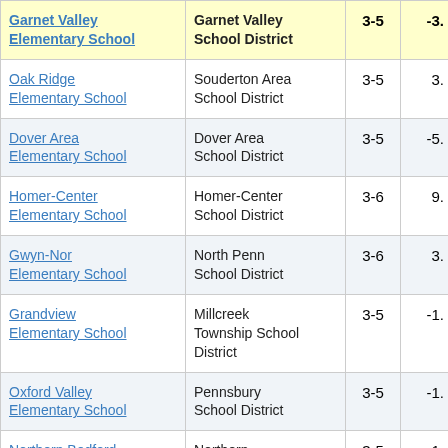| School | District | Grades | Value |
| --- | --- | --- | --- |
| Garnet Valley Elementary School | Garnet Valley School District | 3-5 | -3. |
| Oak Ridge Elementary School | Souderton Area School District | 3-5 | 3. |
| Dover Area Elementary School | Dover Area School District | 3-5 | -5. |
| Homer-Center Elementary School | Homer-Center School District | 3-6 | 9. |
| Gwyn-Nor Elementary School | North Penn School District | 3-6 | 3. |
| Grandview Elementary School | Millcreek Township School District | 3-5 | -1. |
| Oxford Valley Elementary School | Pennsbury School District | 3-5 | -1. |
| Northern Bedford County Elementary School | Northern Bedford County School District | 3-5 | 1. |